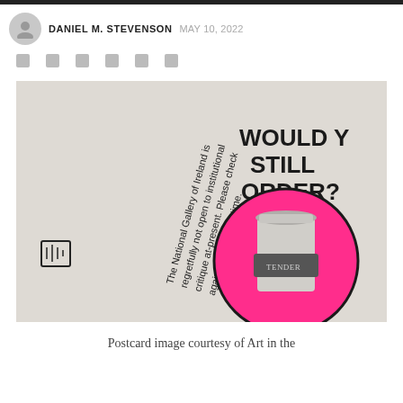DANIEL M. STEVENSON  MAY 10, 2022
[Figure (photo): Postcard image: left side shows rotated text reading 'The National Gallery of Ireland is regretfully not open to institutional critique at-present. Please check again in four years time.' with a small icon; right side shows bold text 'WOULD YOU STILL ORDER?' above a coffee cup in a pink circle with 'TENDER' on the cup sleeve, on a light grey background.]
Postcard image courtesy of Art in the